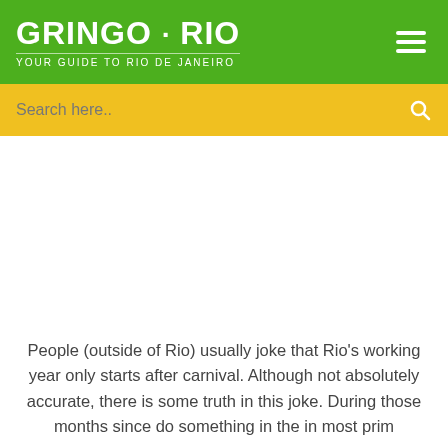GRiNGo · Rio YOUR GUIDE TO RIO DE JANEIRO
Search here..
People (outside of Rio) usually joke that Rio's working year only starts after carnival. Although not absolutely accurate, there is some truth in this joke. During those months since do something in the in most prim